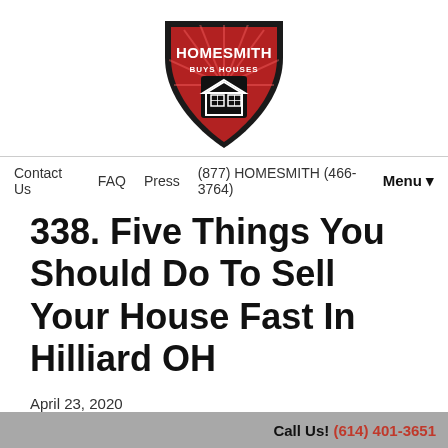[Figure (logo): Homesmith Buys Houses shield logo with red background, white text HOMESMITH BUYS HOUSES, and a house icon]
Contact Us  FAQ  Press  (877) HOMESMITH (466-3764)  Menu ▼
338. Five Things You Should Do To Sell Your House Fast In Hilliard OH
April 23, 2020
By Homesmith
We Buy Houses In Hilliard Ohio. You...
Call Us! (614) 401-3651